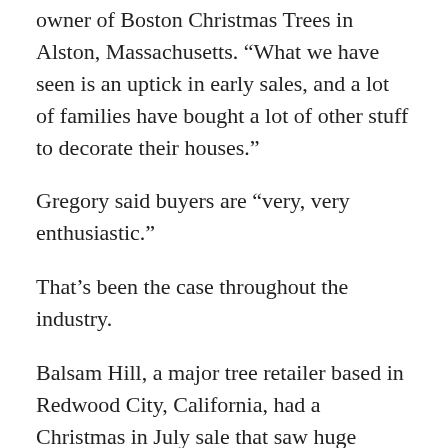owner of Boston Christmas Trees in Alston, Massachusetts. “What we have seen is an uptick in early sales, and a lot of families have bought a lot of other stuff to decorate their houses.”
Gregory said buyers are “very, very enthusiastic.”
That’s been the case throughout the industry.
Balsam Hill, a major tree retailer based in Redwood City, California, had a Christmas in July sale that saw huge demand – and it hasn’t slowed down since.
“What we’ve seen this year since the pandemic is just incredible demand for anything to make your home better,” said Balsam Hill founder and CEO Mac Harman, who called the July sale “crazy, just off the charts.”